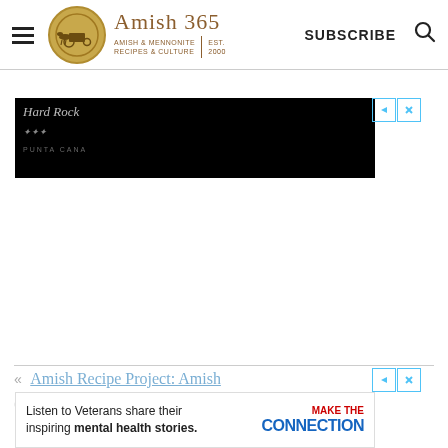Amish 365 — AMISH & MENNONITE RECIPES & CULTURE | EST. 2000 | SUBSCRIBE
[Figure (screenshot): Black advertisement banner for Hard Rock hotel in Punta Cana with play/close controls in top right]
[Figure (screenshot): Bottom advertisement banner: Listen to Veterans share their inspiring mental health stories. MAKE THE CONNECTION]
« Amish Recipe Project: Amish Ch...